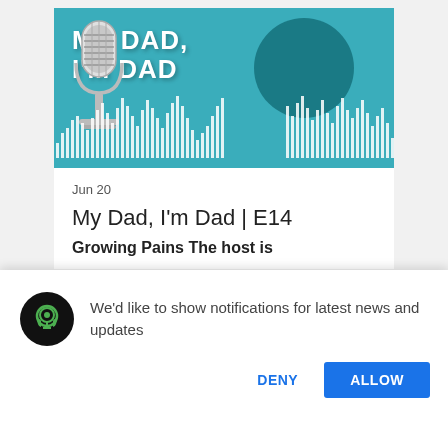[Figure (screenshot): Podcast artwork for 'My Dad, I'm Dad' showing teal background with white text title, vintage microphone graphic, and audio waveform visualization]
Jun 20
My Dad, I'm Dad | E14
Growing Pains The host is
[Figure (logo): Podcast headphone icon in black circle]
We'd like to show notifications for latest news and updates
DENY
ALLOW